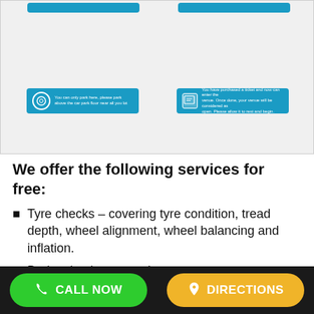[Figure (screenshot): Screenshot area showing two teal/blue banner buttons with icons and text, on a light gray background]
We offer the following services for free:
Tyre checks – covering tyre condition, tread depth, wheel alignment, wheel balancing and inflation.
Brake checks – covering wear on
CALL NOW   DIRECTIONS